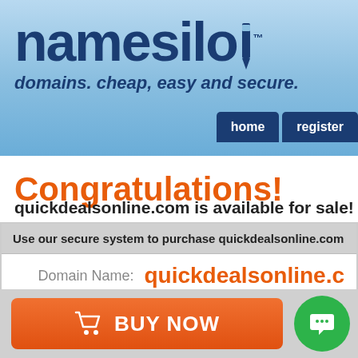[Figure (logo): NameSilo logo with pencil icon and tagline 'domains. cheap, easy and secure.' and nav buttons 'home' and 'register']
Congratulations!
quickdealsonline.com is available for sale!
| Domain Name: | quickdealsonline.com |
| Price: | $199 |
| Annual Renewal Price: | $9.95 |
BUY NOW